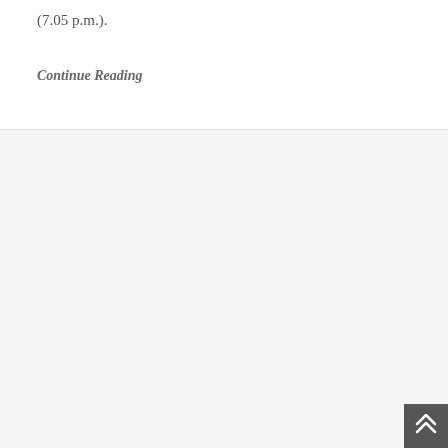(7.05 p.m.).
Continue Reading
[Figure (other): Back to top button with double chevron up arrow icon in dark gray square at bottom right corner]